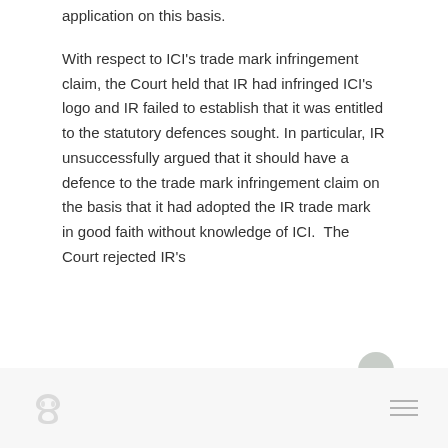application on this basis.
With respect to ICI's trade mark infringement claim, the Court held that IR had infringed ICI's logo and IR failed to establish that it was entitled to the statutory defences sought. In particular, IR unsuccessfully argued that it should have a defence to the trade mark infringement claim on the basis that it had adopted the IR trade mark in good faith without knowledge of ICI.  The Court rejected IR's